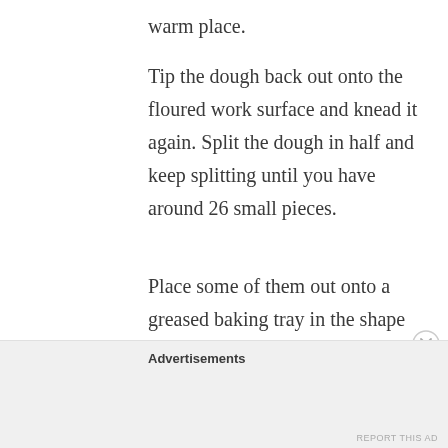warm place.
Tip the dough back out onto the floured work surface and knead it again. Split the dough in half and keep splitting until you have around 26 small pieces.
Place some of them out onto a greased baking tray in the shape of your choice. I decided on a Christmas tree shape. Leave to rise again for 20minutes.
Advertisements
REPORT THIS AD